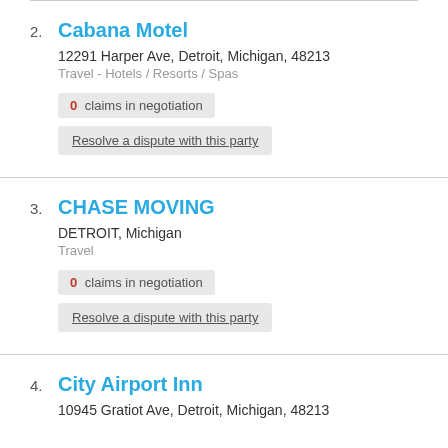2. Cabana Motel
12291 Harper Ave, Detroit, Michigan, 48213
Travel - Hotels / Resorts / Spas
0 claims in negotiation
Resolve a dispute with this party
3. CHASE MOVING
DETROIT, Michigan
Travel
0 claims in negotiation
Resolve a dispute with this party
4. City Airport Inn
10945 Gratiot Ave, Detroit, Michigan, 48213